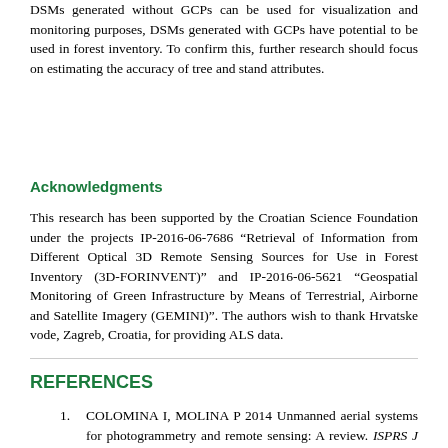DSMs generated without GCPs can be used for visualization and monitoring purposes, DSMs generated with GCPs have potential to be used in forest inventory. To confirm this, further research should focus on estimating the accuracy of tree and stand attributes.
Acknowledgments
This research has been supported by the Croatian Science Foundation under the projects IP-2016-06-7686 "Retrieval of Information from Different Optical 3D Remote Sensing Sources for Use in Forest Inventory (3D-FORINVENT)" and IP-2016-06-5621 "Geospatial Monitoring of Green Infrastructure by Means of Terrestrial, Airborne and Satellite Imagery (GEMINI)". The authors wish to thank Hrvatske vode, Zagreb, Croatia, for providing ALS data.
REFERENCES
COLOMINA I, MOLINA P 2014 Unmanned aerial systems for photogrammetry and remote sensing: A review. ISPRS J Photogramm Remote Sens 92: 79-97. DOI: https://doi.org/10.1016/j.isprsjprs.2014.02.013